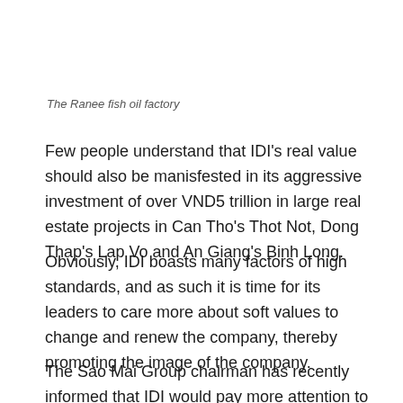The Ranee fish oil factory
Few people understand that IDI's real value should also be manisfested in its aggressive investment of over VND5 trillion in large real estate projects in Can Tho's Thot Not, Dong Thap's Lap Vo and An Giang's Binh Long.
Obviously, IDI boasts many factors of high standards, and as such it is time for its leaders to care more about soft values to change and renew the company, thereby promoting the image of the company.
The Sao Mai Group chairman has recently informed that IDI would pay more attention to market capitalization,